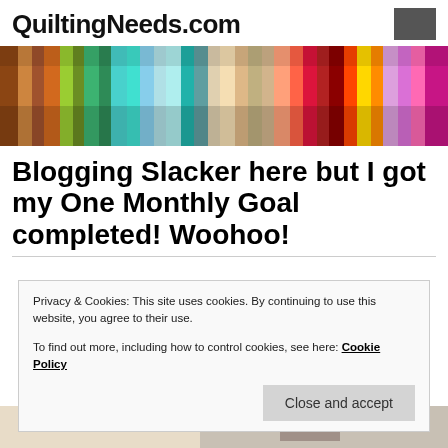QuiltingNeeds.com
[Figure (photo): Banner image showing rows of colorful folded quilting fabrics stacked side by side in many patterns and colors]
Blogging Slacker here but I got my One Monthly Goal completed! Woohoo!
Privacy & Cookies: This site uses cookies. By continuing to use this website, you agree to their use.
To find out more, including how to control cookies, see here: Cookie Policy
Close and accept
[Figure (photo): Partial bottom strip showing a quilt or fabric image]